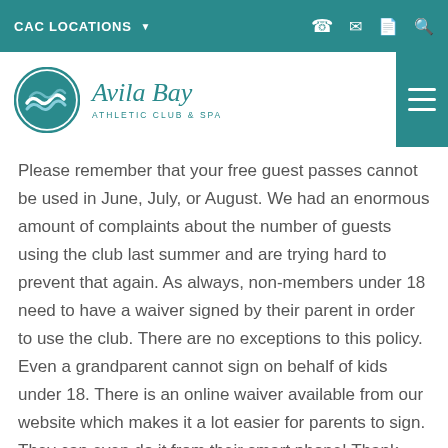CAC LOCATIONS
[Figure (logo): Avila Bay Athletic Club & Spa logo with teal circular wave emblem]
Please remember that your free guest passes cannot be used in June, July, or August. We had an enormous amount of complaints about the number of guests using the club last summer and are trying hard to prevent that again. As always, non-members under 18 need to have a waiver signed by their parent in order to use the club. There are no exceptions to this policy. Even a grandparent cannot sign on behalf of kids under 18. There is an online waiver available from our website which makes it a lot easier for parents to sign. They can even do it from their smart phone! Thank you for your help with this.